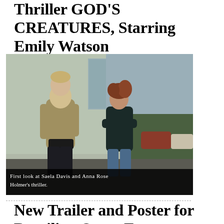Thriller GOD'S CREATURES, Starring Emily Watson
[Figure (photo): Two actors standing outside a building — a man in a tan hoodie with hands in pockets and a woman in a dark top with arms crossed, with a hilly landscape and cars visible in the background. Still from the film God's Creatures.]
First look at Saela Davis and Anna Rose Holmer's thriller.
New Trailer and Poster for Brazilian Oscar Entry PRIVATE DESERT